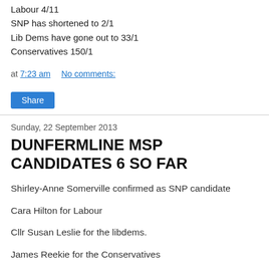Labour 4/11
SNP has shortened to 2/1
Lib Dems have gone out to 33/1
Conservatives 150/1
at 7:23 am   No comments:
Share
Sunday, 22 September 2013
DUNFERMLINE MSP CANDIDATES 6 SO FAR
Shirley-Anne Somerville confirmed as SNP candidate
Cara Hilton for Labour
Cllr Susan Leslie for the libdems.
James Reekie for the Conservatives